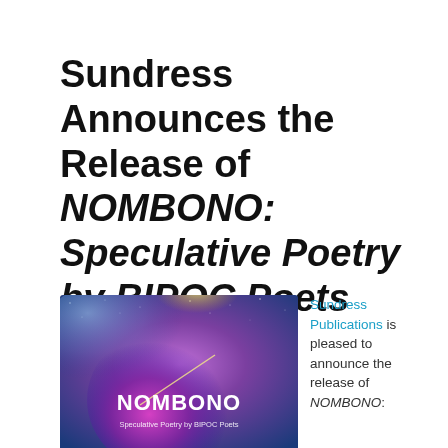Sundress Announces the Release of NOMBONO: Speculative Poetry by BIPOC Poets
[Figure (illustration): Book cover of NOMBONO: Speculative Poetry by BIPOC Poets — a colorful cosmic/nebula background in blues, pinks, purples and yellows, with the title NOMBONO in large white text and subtitle 'Speculative Poetry by BIPOC Poets' below it.]
Sundress Publications is pleased to announce the release of NOMBONO: